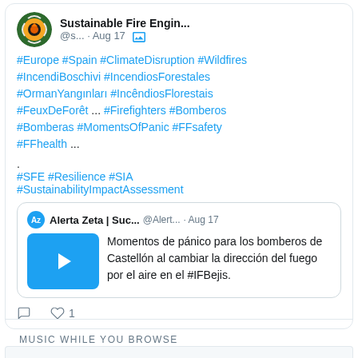[Figure (screenshot): Twitter/social media screenshot showing a tweet from Sustainable Fire Engin... account with hashtags about wildfires and a quoted tweet from Alerta Zeta about panic moments for firefighters in Castellón]
#Europe #Spain #ClimateDisruption #Wildfires #IncendiBoschivi #IncendiosForestales #OrmanYangınları #IncêndiosFlorestais #FeuxDeForêt ... #Firefighters #Bomberos #Bomberas #MomentsOfPanic #FFsafety #FFhealth ...
. 
#SFE #Resilience #SIA #SustainabilityImpactAssessment
Alerta Zeta | Suc... @Alert... · Aug 17
Momentos de pánico para los bomberos de Castellón al cambiar la dirección del fuego por el aire en el #IFBejis.
MUSIC WHILE YOU BROWSE